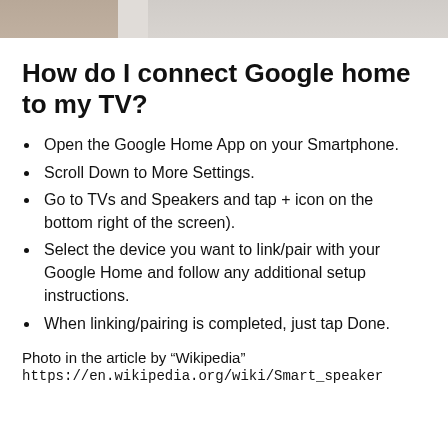[Figure (photo): Partial photo strip at the top of the page showing a blurred image, possibly of hands and a device.]
How do I connect Google home to my TV?
Open the Google Home App on your Smartphone.
Scroll Down to More Settings.
Go to TVs and Speakers and tap + icon on the bottom right of the screen).
Select the device you want to link/pair with your Google Home and follow any additional setup instructions.
When linking/pairing is completed, just tap Done.
Photo in the article by “Wikipedia”
https://en.wikipedia.org/wiki/Smart_speaker